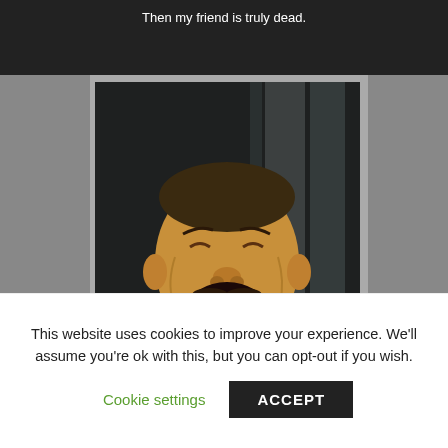Then my friend is truly dead.
[Figure (photo): Man laughing heartily in a dark indoor setting, wearing a suit and tie. Meme image. Text overlay reads: Me, watching the movie again after having read theories that he was doing it on purpose:]
This website uses cookies to improve your experience. We'll assume you're ok with this, but you can opt-out if you wish.
Cookie settings
ACCEPT